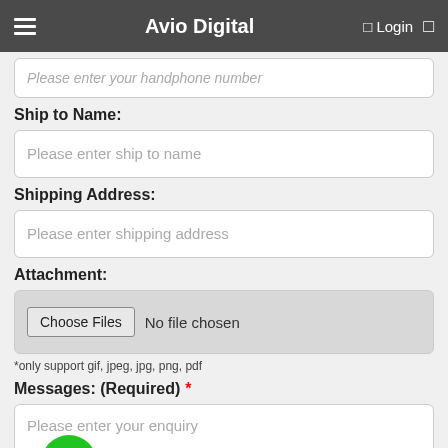Avio Digital   Login
Please enter your handphone number
Ship to Name:
Please enter ship to name
Shipping Address:
Please enter shipping address
Attachment:
Choose Files   No file chosen
*only support gif, jpeg, jpg, png, pdf
Messages: (Required) *
Please enter your enquiry